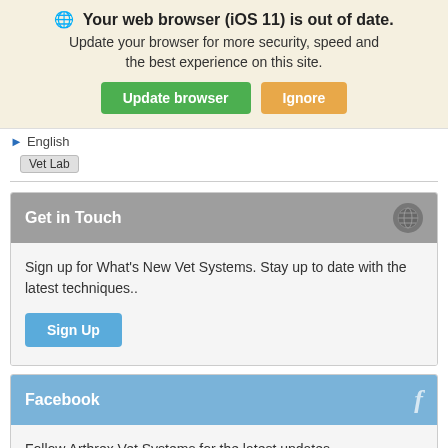[Figure (screenshot): Browser update notification banner with globe icon, bold text 'Your web browser (iOS 11) is out of date.', subtitle text, green 'Update browser' button and orange 'Ignore' button]
English
Vet Lab
Get in Touch
Sign up for What's New Vet Systems. Stay up to date with the latest techniques..
Sign Up
Facebook
Follow Arthrex Vet Systems for the latest updates.
Follow us on Facebook